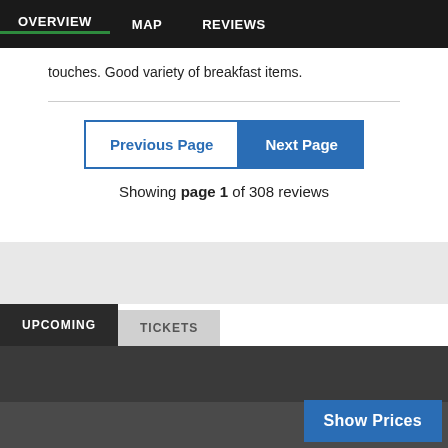OVERVIEW  MAP  REVIEWS
touches. Good variety of breakfast items.
Previous Page  Next Page
Showing page 1 of 308 reviews
UPCOMING  TICKETS
Show Prices